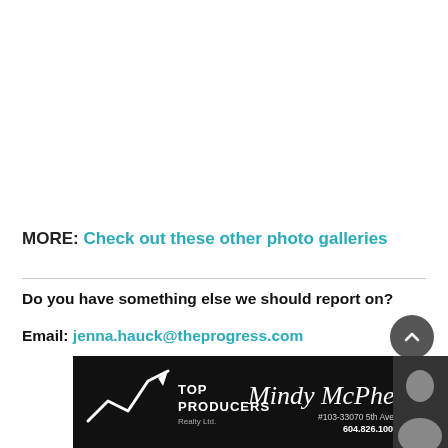MORE: Check out these other photo galleries
Do you have something else we should report on?
Email: jenna.hauck@theprogress.com
[Figure (other): Top Producers Realty Ltd. advertisement featuring Mindy McPherson, #103-33070 5th Ave., Mission, 604.826.1000]